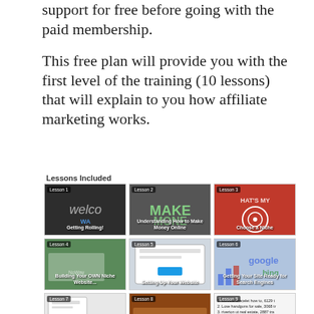support for free before going with the paid membership.
This free plan will provide you with the first level of the training (10 lessons) that will explain to you how affiliate marketing works.
Lessons Included
[Figure (screenshot): Grid of 10 lesson thumbnails from an online affiliate marketing course. Lessons 1-10 shown as thumbnail images with labels: Getting Rolling!, Understanding How to Make Money Online, Choose a Niche, Building Your OWN Niche Website, Setting Up Your Website, Getting Your Site Ready for Search Engines, Creating Your Initial Website Content, Creating Custom Menus on Your Website, Understanding Keywords, Congratulations and Your Next Steps.]